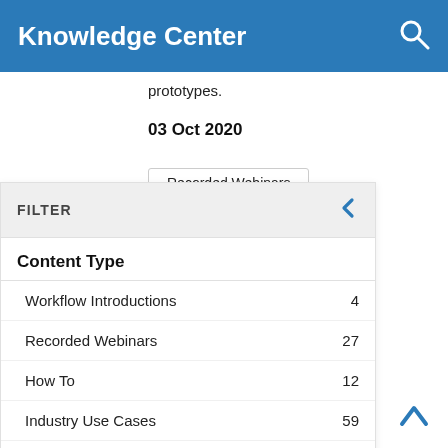Knowledge Center
prototypes.
03 Oct 2020
Recorded Webinars
FILTER
Content Type
Workflow Introductions  4
Recorded Webinars  27
How To  12
Industry Use Cases  59
Success Stories  44
✔ Reference Applications  7
✔ Whitepapers  4
Published Documents...